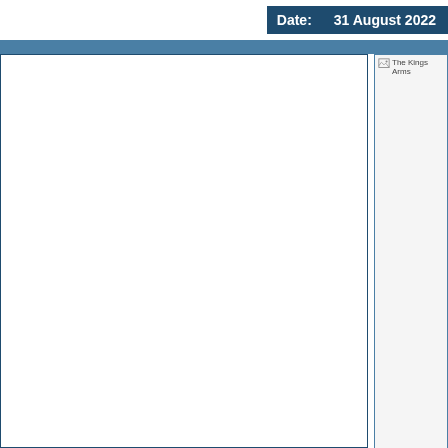Date: 31 August 2022
[Figure (screenshot): Left panel content area, mostly blank white with border]
[Figure (screenshot): The Kings Arms - broken image placeholder, tall box on right panel]
[Figure (screenshot): Small broken image placeholder box on right panel]
The White Po
[Figure (screenshot): The White Post - broken image placeholder, tall box below section header]